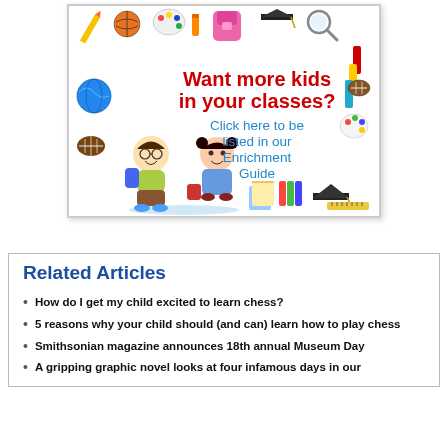[Figure (illustration): Colorful educational advertisement banner surrounded by school-related clipart (basketball, pencils, globe, football, crayons, backpack, graduation cap, paint palette, ruler, books). Features two cartoon children (boy with glasses and backpack, girl with pigtails). Red bold text: 'Want more kids in your classes?' Blue text: 'Click here to be listed in our Enrichment Guide']
Related Articles
How do I get my child excited to learn chess?
5 reasons why your child should (and can) learn how to play chess
Smithsonian magazine announces 18th annual Museum Day
A gripping graphic novel looks at four infamous days in our